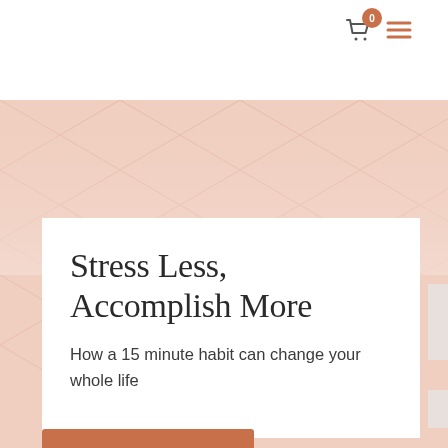0
[Figure (illustration): Website header with shopping cart icon showing badge with number 0 and a hamburger menu icon in terracotta/orange color]
[Figure (illustration): Peach/salmon colored hero banner background with light geometric hexagonal/diamond grid pattern]
Stress Less, Accomplish More
How a 15 minute habit can change your whole life